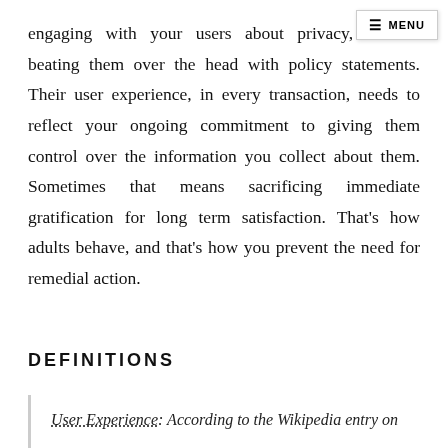engaging with your users about privacy, without beating them over the head with policy statements. Their user experience, in every transaction, needs to reflect your ongoing commitment to giving them control over the information you collect about them. Sometimes that means sacrificing immediate gratification for long term satisfaction. That's how adults behave, and that's how you prevent the need for remedial action.
DEFINITIONS
User Experience: According to the Wikipedia entry on